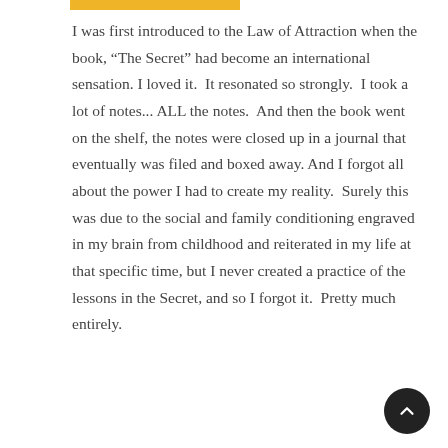[Figure (other): Yellow/gold horizontal bar at top of page]
I was first introduced to the Law of Attraction when the book, “The Secret” had become an international sensation. I loved it.  It resonated so strongly.  I took a lot of notes... ALL the notes.  And then the book went on the shelf, the notes were closed up in a journal that eventually was filed and boxed away. And I forgot all about the power I had to create my reality.  Surely this was due to the social and family conditioning engraved in my brain from childhood and reiterated in my life at that specific time, but I never created a practice of the lessons in the Secret, and so I forgot it.  Pretty much entirely.